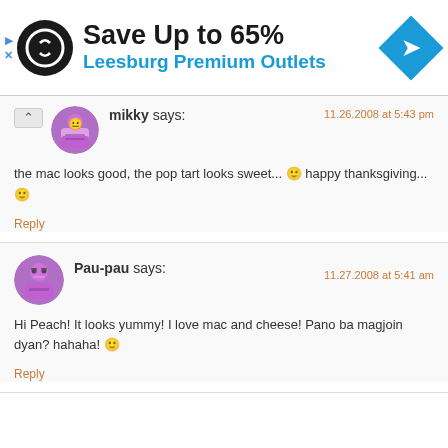[Figure (infographic): Advertisement banner: circular black logo with double loop arrows, text 'Save Up to 65%' in bold black, 'Leesburg Premium Outlets' in blue, blue diamond navigation icon on right]
mikky says:
11.26.2008 at 5:43 pm
the mac looks good, the pop tart looks sweet... 🙂 happy thanksgiving... 🙂
Reply
Pau-pau says:
11.27.2008 at 5:41 am
Hi Peach! It looks yummy! I love mac and cheese! Pano ba magjoin dyan? hahaha! 🙂
Reply